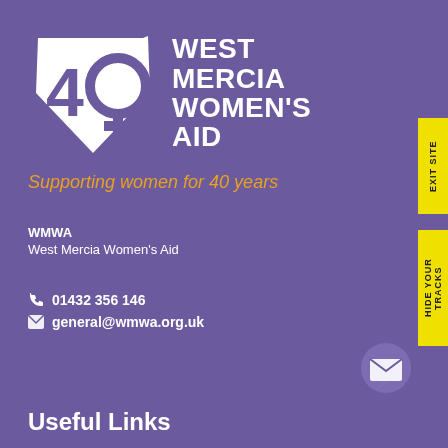[Figure (logo): West Mercia Women's Aid logo with shield containing '40' and female symbol, and text 'WEST MERCIA WOMEN'S AID']
Supporting women for 40 years
WMWA
West Mercia Women's Aid
01432 356 146
general@wmwa.org.uk
Useful Links